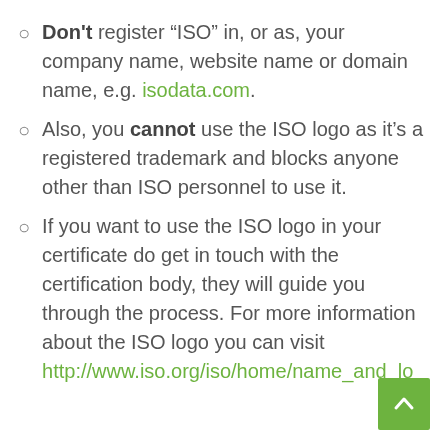Don't register “ISO” in, or as, your company name, website name or domain name, e.g. isodata.com.
Also, you cannot use the ISO logo as it’s a registered trademark and blocks anyone other than ISO personnel to use it.
If you want to use the ISO logo in your certificate do get in touch with the certification body, they will guide you through the process. For more information about the ISO logo you can visit http://www.iso.org/iso/home/name_and_lo